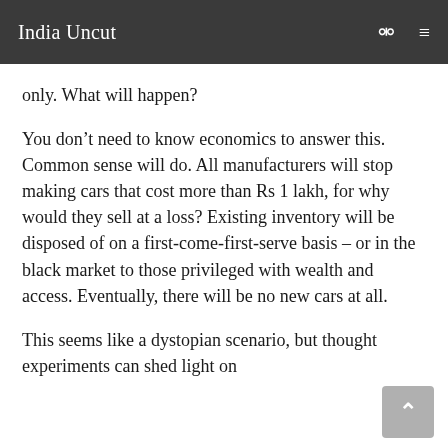India Uncut
only. What will happen?
You don’t need to know economics to answer this. Common sense will do. All manufacturers will stop making cars that cost more than Rs 1 lakh, for why would they sell at a loss? Existing inventory will be disposed of on a first-come-first-serve basis – or in the black market to those privileged with wealth and access. Eventually, there will be no new cars at all.
This seems like a dystopian scenario, but thought experiments can shed light on